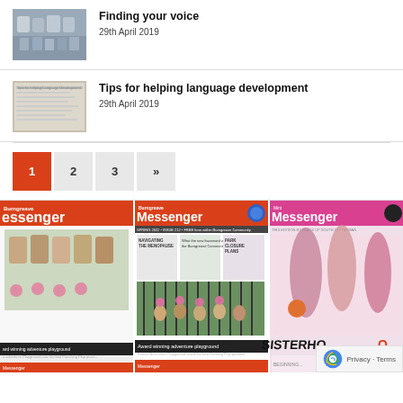[Figure (photo): Group of people holding signs in classroom]
Finding your voice
29th April 2019
[Figure (photo): Printed article about helping language development]
Tips for helping language development
29th April 2019
1
2
3
»
[Figure (screenshot): Screenshots of three Burngreave Messenger magazine covers including Mini Messenger Sisterhood edition and award winning adventure playground issue]